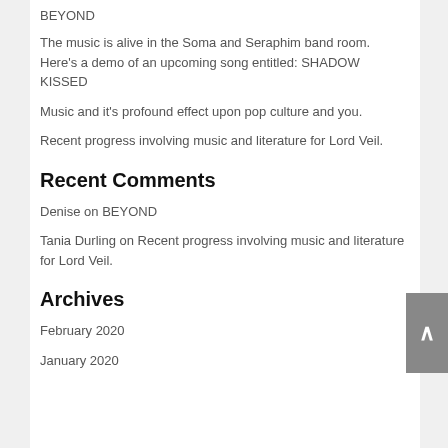BEYOND
The music is alive in the Soma and Seraphim band room. Here's a demo of an upcoming song entitled: SHADOW KISSED
Music and it's profound effect upon pop culture and you.
Recent progress involving music and literature for Lord Veil.
Recent Comments
Denise on BEYOND
Tania Durling on Recent progress involving music and literature for Lord Veil.
Archives
February 2020
January 2020